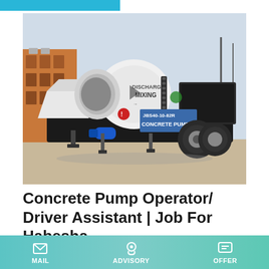[Figure (photo): A white concrete pump machine (JBS40-10-82R Concrete Pump) with a large cylindrical mixing drum labeled DISCHARGE MIXING, mounted on a wheeled trailer, photographed outdoors in a yard with a building in the background.]
Concrete Pump Operator/ Driver Assistant | Job For Habesha
1 day ago · Phison Real Estate S.C Vacancy Announcement Position: Concrete Pump Operator/ Driver Assistant -